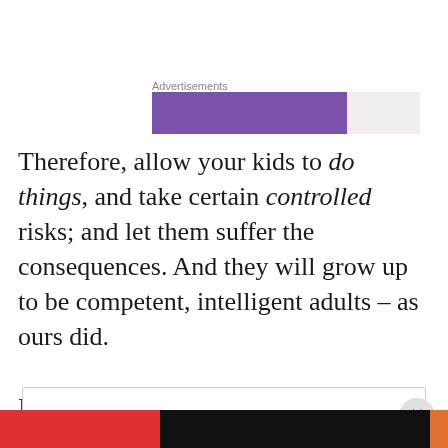[Figure (other): Advertisement bar: purple section followed by gray section, labeled 'Advertisements' above]
Therefore, allow your kids to do things, and take certain controlled risks; and let them suffer the consequences. And they will grow up to be competent, intelligent adults – as ours did.

I'm proud of that.
Privacy & Cookies: This site uses cookies. By continuing to use this website, you agree to their use.
To find out more, including how to control cookies, see here: Cookie Policy
Close and accept